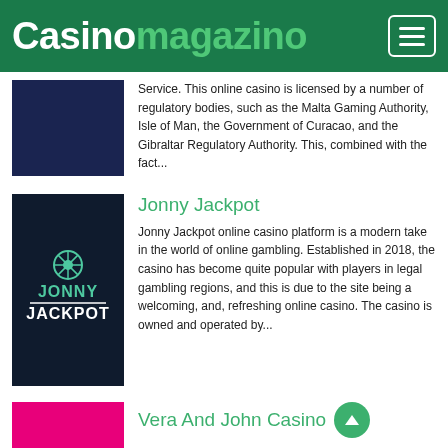Casinomagazino
Service. This online casino is licensed by a number of regulatory bodies, such as the Malta Gaming Authority, Isle of Man, the Government of Curacao, and the Gibraltar Regulatory Authority. This, combined with the fact...
[Figure (logo): Jonny Jackpot casino logo — dark navy background with teal/white JONNY JACKPOT text and roulette wheel icon]
Jonny Jackpot
Jonny Jackpot online casino platform is a modern take in the world of online gambling. Established in 2018, the casino has become quite popular with players in legal gambling regions, and this is due to the site being a welcoming, and, refreshing online casino. The casino is owned and operated by...
[Figure (logo): Vera And John Casino logo — pink/magenta background]
Vera And John Casino